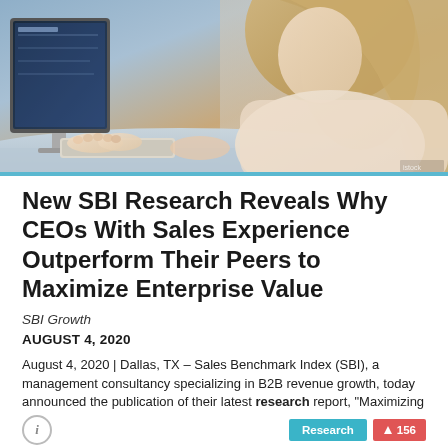[Figure (photo): Woman with blonde hair sitting at a desktop computer, typing on keyboard, viewed from behind at slight angle, office setting.]
New SBI Research Reveals Why CEOs With Sales Experience Outperform Their Peers to Maximize Enterprise Value
SBI Growth
AUGUST 4, 2020
August 4, 2020 | Dallas, TX – Sales Benchmark Index (SBI), a management consultancy specializing in B2B revenue growth, today announced the publication of their latest research report, "Maximizing Enterprise Value Through CEO Selection." News & Press Research Report